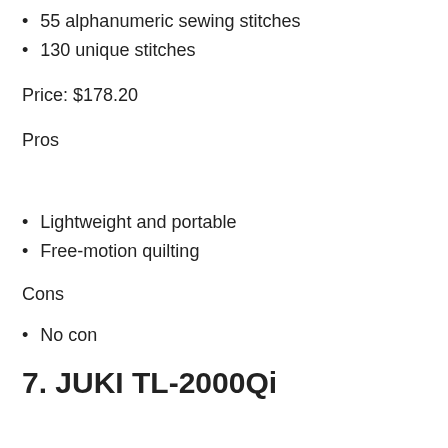55 alphanumeric sewing stitches
130 unique stitches
Price: $178.20
Pros
Lightweight and portable
Free-motion quilting
Cons
No con
7. JUKI TL-2000Qi